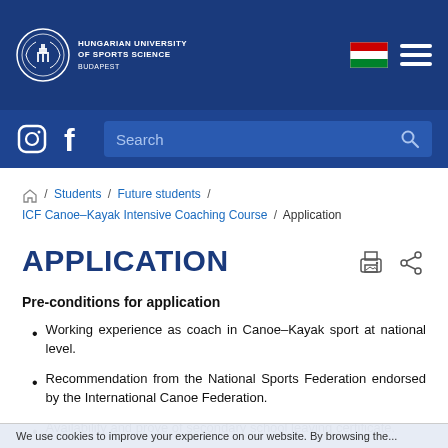[Figure (logo): Hungarian University of Sports Science logo and navigation bar with Hungarian flag and hamburger menu]
[Figure (screenshot): Search bar with Instagram and Facebook icons]
Home / Students / Future students / ICF Canoe–Kayak Intensive Coaching Course / Application
APPLICATION
Pre-conditions for application
Working experience as coach in Canoe–Kayak sport at national level.
Recommendation from the National Sports Federation endorsed by the International Canoe Federation.
Availability and prove of secondary school leaving certificate.
Sufficient knowledge of English language.
We use cookies to improve your experience on our website. By browsing the...